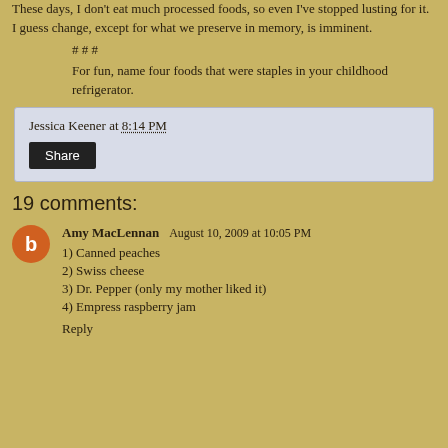These days, I don't eat much processed foods, so even I've stopped lusting for it. I guess change, except for what we preserve in memory, is imminent.
# # #
For fun, name four foods that were staples in your childhood refrigerator.
Jessica Keener at 8:14 PM
Share
19 comments:
Amy MacLennan August 10, 2009 at 10:05 PM
1) Canned peaches
2) Swiss cheese
3) Dr. Pepper (only my mother liked it)
4) Empress raspberry jam
Reply